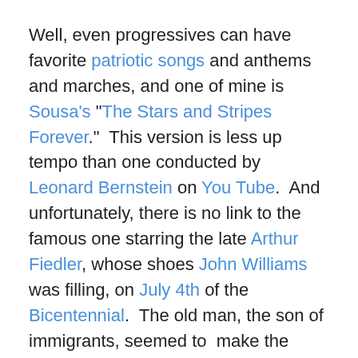Well, even progressives can have favorite patriotic songs and anthems and marches, and one of mine is Sousa's "The Stars and Stripes Forever."  This version is less up tempo than one conducted by Leonard Bernstein on You Tube.  And unfortunately, there is no link to the famous one starring the late Arthur Fiedler, whose shoes John Williams was filling, on July 4th of the Bicentennial.  The old man, the son of immigrants, seemed to  make the march go on and on that evening, and I think the television audience as well as the thousands in Boston Harbor were probably whipped up with emotion by the time Fiedler and the orchestra concluded.
The Bicentennial, as I remember it, was not a great time in the life of the Republic.  Watergate had exposed the sins of not only President Nixon, but of our government.  We